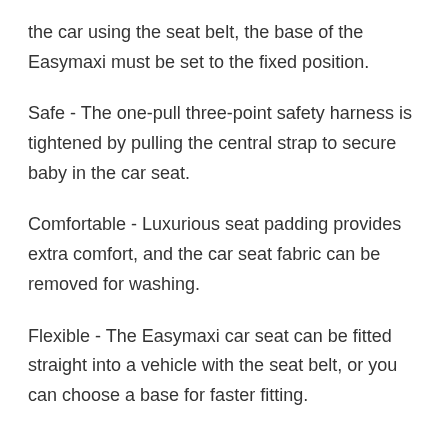the car using the seat belt, the base of the Easymaxi must be set to the fixed position.
Safe - The one-pull three-point safety harness is tightened by pulling the central strap to secure baby in the car seat.
Comfortable - Luxurious seat padding provides extra comfort, and the car seat fabric can be removed for washing.
Flexible - The Easymaxi car seat can be fitted straight into a vehicle with the seat belt, or you can choose a base for faster fitting.